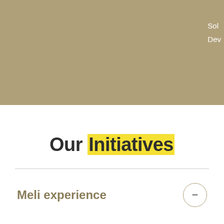[Figure (other): Tan/khaki colored hero background block with partial white text visible at top right reading 'Sol' and 'Dev']
Our Initiatives
Meli experience